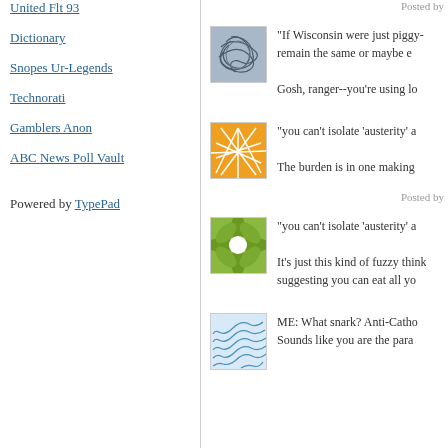United Flt 93
Dictionary
Snopes Ur-Legends
Technorati
Gamblers Anon
ABC News Poll Vault
Powered by TypePad
Posted by
"If Wisconsin were just piggy- remain the same or maybe e
Gosh, ranger--you're using lo
"you can't isolate 'austerity' a
The burden is in one making
Posted by
"you can't isolate 'austerity' a
It's just this kind of fuzzy think suggesting you can eat all yo
ME: What snark? Anti-Catho Sounds like you are the para